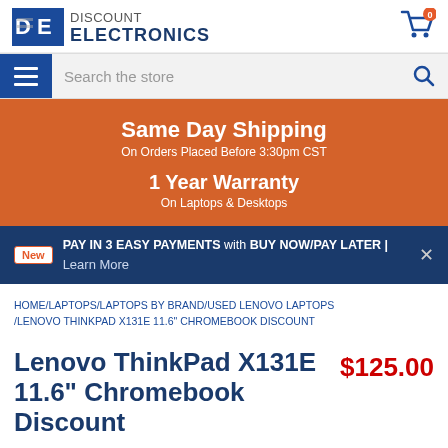[Figure (logo): Discount Electronics logo with DE icon and cart with badge showing 0]
Search the store
[Figure (infographic): Orange promo banner: Same Day Shipping On Orders Placed Before 3:30pm CST / 1 Year Warranty On Laptops & Desktops]
New  PAY IN 3 EASY PAYMENTS with BUY NOW/PAY LATER | Learn More
HOME/LAPTOPS/LAPTOPS BY BRAND/USED LENOVO LAPTOPS/LENOVO THINKPAD X131E 11.6" CHROMEBOOK DISCOUNT
Lenovo ThinkPad X131E 11.6" Chromebook Discount
$125.00